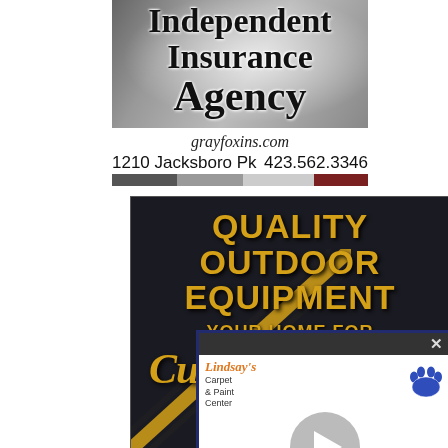[Figure (illustration): Independent Insurance Agency advertisement with road photo background and agency name in bold serif font]
grayfoxins.com
1210 Jacksboro Pk   423.562.3346
[Figure (illustration): Quality Outdoor Equipment ad on dark background with gold text: QUALITY OUTDOOR EQUIPMENT, YOUR HOME FOR, Cub (cadet logo), SALES, INDIAN M..., JAC...]
[Figure (illustration): Lindsay's Carpet & Paint Center popup overlay with play button video thumbnail, paw logo, address 110 E Central Ave., phone 423.562.6683]